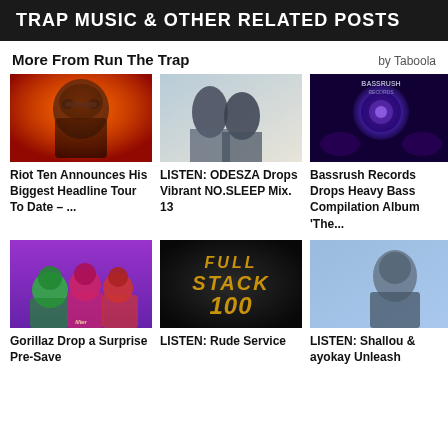TRAP MUSIC & OTHER RELATED POSTS
More From Run The Trap
by Taboola
[Figure (photo): Man with sunglasses on orange background - Riot Ten]
Riot Ten Announces His Biggest Headline Tour To Date – ...
[Figure (photo): Two people standing - ODESZA]
LISTEN: ODESZA Drops Vibrant NO.SLEEP Mix. 13
[Figure (photo): Purple orb with hands - Bassrush Records]
Bassrush Records Drops Heavy Bass Compilation Album 'The...
[Figure (illustration): Gorillaz animated characters on purple background]
Gorillaz Drop a Surprise Pre-Save
[Figure (logo): Full Stack 100 gold text on dark background]
LISTEN: Rude Service
[Figure (photo): Man looking to the side - Shallou]
LISTEN: Shallou & ayokay Unleash